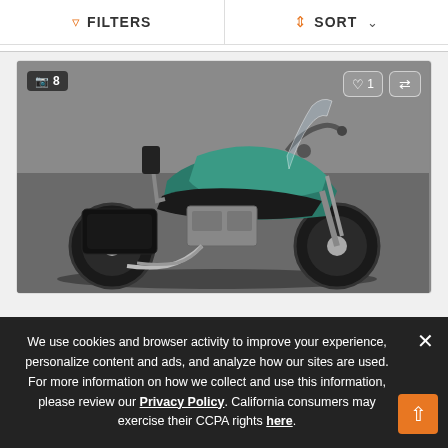FILTERS   SORT
[Figure (screenshot): A teal/green cruiser motorcycle (Kawasaki Vulcan-style) photographed against a grey background, displayed as a vehicle listing card. Shows 8 photos badge in top-left corner, a heart/save button with count 1 and a compare button in top-right.]
We use cookies and browser activity to improve your experience, personalize content and ads, and analyze how our sites are used. For more information on how we collect and use this information, please review our Privacy Policy. California consumers may exercise their CCPA rights here.